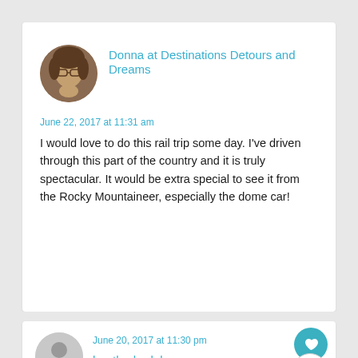[Figure (photo): Circular avatar photo of Donna, a woman with glasses and short hair]
Donna at Destinations Detours and Dreams
June 22, 2017 at 11:31 am
I would love to do this rail trip some day. I've driven through this part of the country and it is truly spectacular. It would be extra special to see it from the Rocky Mountaineer, especially the dome car!
[Figure (illustration): Generic gray circular user avatar icon for heatherhudak]
heatherhudak
June 20, 2017 at 11:30 pm
I love this post! I'm from Calgary, and I've